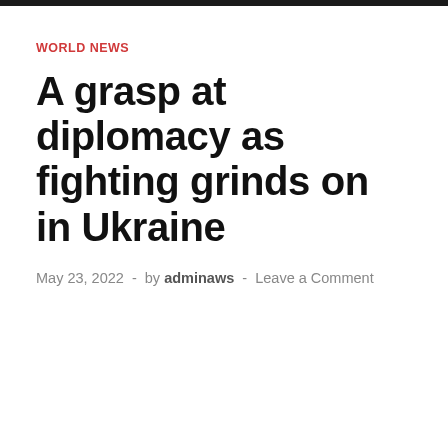WORLD NEWS
A grasp at diplomacy as fighting grinds on in Ukraine
May 23, 2022  -  by adminaws  -  Leave a Comment